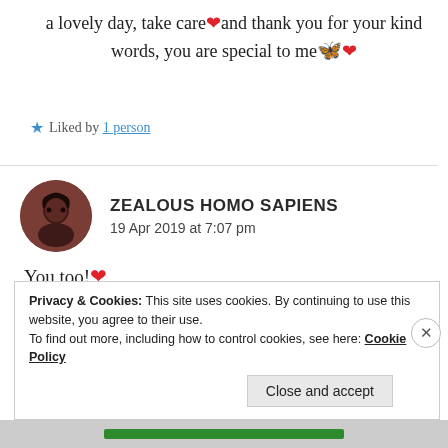a lovely day, take care❤️and thank you for your kind words, you are special to me🦋❤️
★ Liked by 1 person
ZEALOUS HOMO SAPIENS
19 Apr 2019 at 7:07 pm
You too!❤️
Privacy & Cookies: This site uses cookies. By continuing to use this website, you agree to their use.
To find out more, including how to control cookies, see here: Cookie Policy
Close and accept